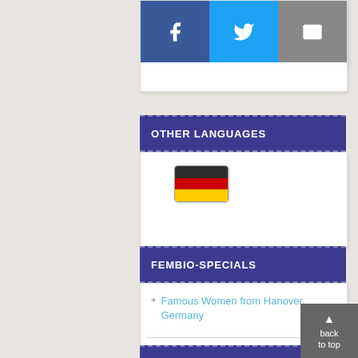[Figure (screenshot): Social sharing buttons: Facebook (blue), Twitter (light blue), Email (gray)]
OTHER LANGUAGES
[Figure (illustration): German flag icon showing three horizontal stripes: black, red, and gold]
FEMBIO-SPECIALS
Famous Women from Hanover, Germany
SPONSORED BY
[Figure (logo): Hannover Referat für Frauen und Gleichstellung logo with partial graphic visible]
back to top